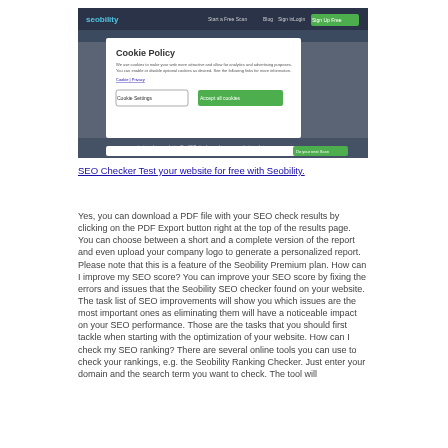[Figure (screenshot): Screenshot of the Seobility website showing a cookie policy modal dialog with 'Cookie Settings' and 'Accept all cookies' buttons on a dark overlay background.]
SEO Checker Test your website for free with Seobility.
Yes, you can download a PDF file with your SEO check results by clicking on the PDF Export button right at the top of the results page. You can choose between a short and a complete version of the report and even upload your company logo to generate a personalized report. Please note that this is a feature of the Seobility Premium plan. How can I improve my SEO score? You can improve your SEO score by fixing the errors and issues that the Seobility SEO checker found on your website. The task list of SEO improvements will show you which issues are the most important ones as eliminating them will have a noticeable impact on your SEO performance. Those are the tasks that you should first tackle when starting with the optimization of your website. How can I check my SEO ranking? There are several online tools you can use to check your rankings, e.g. the Seobility Ranking Checker. Just enter your domain and the search term you want to check. The tool will